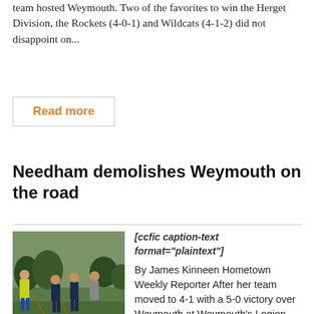team hosted Weymouth. Two of the favorites to win the Herget Division, the Rockets (4-0-1) and Wildcats (4-1-2) did not disappoint on...
Read more
Needham demolishes Weymouth on the road
[Figure (photo): Field hockey players on grass field, one player in yellow jacket, others in dark uniforms]
[ccfic caption-text format="plaintext"]
By James Kinneen Hometown Weekly Reporter After her team moved to 4-1 with a 5-0 victory over Weymouth at Weymouth's Legion Field, Needham field hockey coach Stephanie Magni described the game by noting: “This was a good game for us. We had a rough first half because we had very little to warm up...